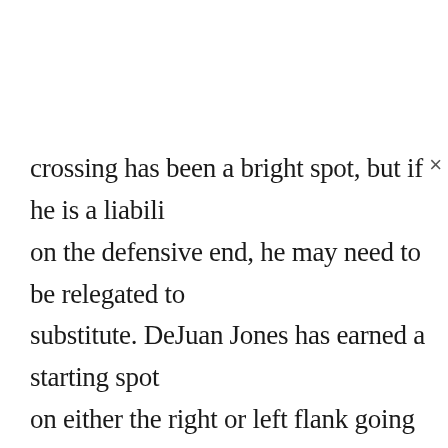crossing has been a bright spot, but if he is a liabili on the defensive end, he may need to be relegated to substitute. DeJuan Jones has earned a starting spot on either the right or left flank going into this season, in my opinion. With Büttner still having a niggling injury, he may get the start on the left, but even thinking of a combination of him and Bye on the right, with the pace and defensive awareness the two of them have, it could become a strength of this team. He also has had an excellent attacking presence, providing a number of good crosses, something he needed to improve upon this off-